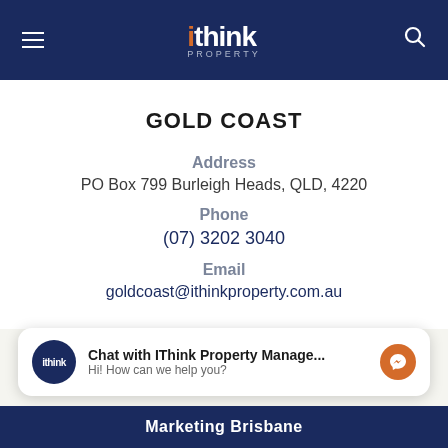ithink PROPERTY
GOLD COAST
Address
PO Box 799 Burleigh Heads, QLD, 4220
Phone
(07) 3202 3040
Email
goldcoast@ithinkproperty.com.au
Chat with IThink Property Manage... Hi! How can we help you?
Marketing Brisbane